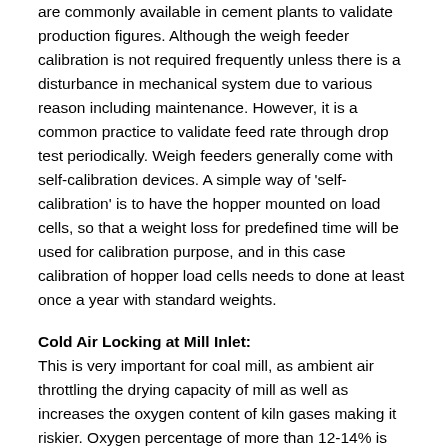are commonly available in cement plants to validate production figures. Although the weigh feeder calibration is not required frequently unless there is a disturbance in mechanical system due to various reason including maintenance. However, it is a common practice to validate feed rate through drop test periodically. Weigh feeders generally come with self-calibration devices. A simple way of 'self-calibration' is to have the hopper mounted on load cells, so that a weight loss for predefined time will be used for calibration purpose, and in this case calibration of hopper load cells needs to done at least once a year with standard weights.
Cold Air Locking at Mill Inlet:
This is very important for coal mill, as ambient air throttling the drying capacity of mill as well as increases the oxygen content of kiln gases making it riskier. Oxygen percentage of more than 12-14% is considered catalyst for fire/explosion risk. Rotary feeders (gravel gate), double flap valve are used to stop/minimize cold air leakage into mill system. Cold air leakage percentage